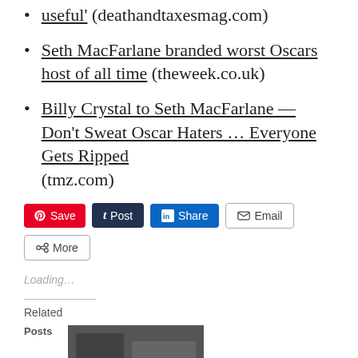useful' (deathandtaxesmag.com)
Seth MacFarlane branded worst Oscars host of all time (theweek.co.uk)
Billy Crystal to Seth MacFarlane — Don't Sweat Oscar Haters … Everyone Gets Ripped (tmz.com)
Loading...
Related
Posts